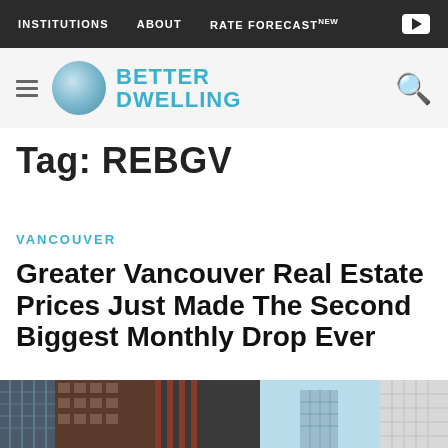INSTITUTIONS  ABOUT  RATE FORECAST NEW
BETTER DWELLING
Tag: REBGV
VANCOUVER
Greater Vancouver Real Estate Prices Just Made The Second Biggest Monthly Drop Ever
[Figure (photo): Urban cityscape showing tall glass skyscrapers and older brick buildings in Vancouver, under a blue sky]